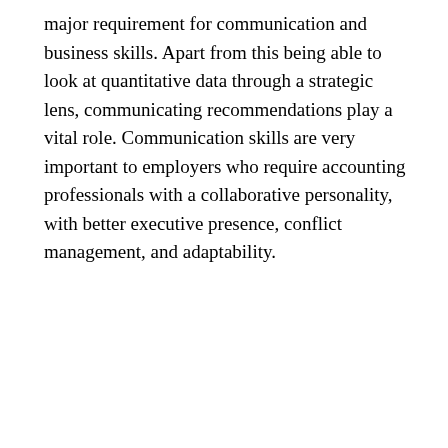major requirement for communication and business skills. Apart from this being able to look at quantitative data through a strategic lens, communicating recommendations play a vital role. Communication skills are very important to employers who require accounting professionals with a collaborative personality, with better executive presence, conflict management, and adaptability.